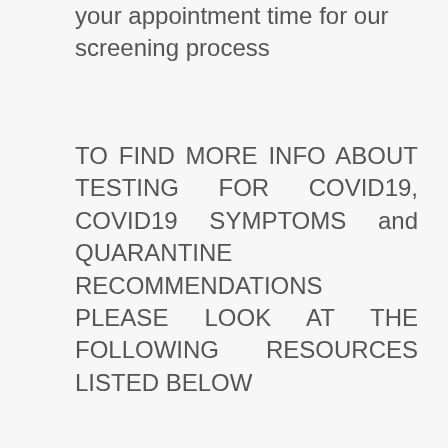your appointment time for our screening process
TO FIND MORE INFO ABOUT TESTING FOR COVID19, COVID19 SYMPTOMS and QUARANTINE RECOMMENDATIONS PLEASE LOOK AT THE FOLLOWING RESOURCES LISTED BELOW